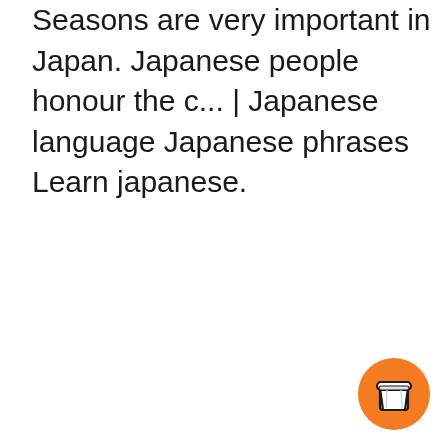Seasons are very important in Japan. Japanese people honour the c... | Japanese language Japanese phrases Learn japanese.
[Figure (illustration): Orange circular button with a white takeaway coffee cup icon]